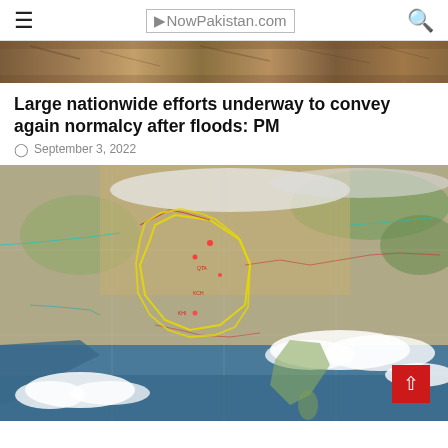NowPakistan.com
[Figure (photo): Landscape/terrain photo strip at top of page]
Large nationwide efforts underway to convey again normalcy after floods: PM
September 3, 2022
[Figure (map): Satellite map image of South Asia/Pakistan region with yellow and red border overlays showing country/regional boundaries, with clouds visible in the southern and eastern portions. A red scroll-to-top button is overlaid in the bottom-right corner.]